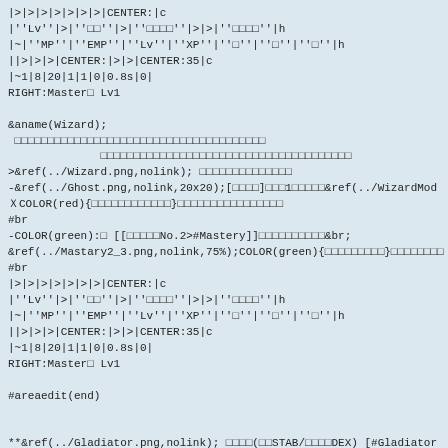|>|>|>|>|>|>|>|CENTER:|c
|''Lv''|>|''□□''|>|''□□□□''|>|>|''□□□□''|h
|~|''MP''|''EMP''|''Lv''|''XP''|''□''|''□''|''□''|h
||>|>|>|CENTER:|>|>|CENTER:35|c
|~1|8|20|1|1|0|0.8s|0|
RIGHT:Master□ Lv1

&aname(Wizard);
 □□□□□□□□□□□□□□□□□□□□□□□□□□□□□□□□□□□□□□
              □□□□□□□□□□□□□□□□□□□□□□□□□□□□□□□□□□□□□□
>&ref(../Wizard.png,nolink); □□□□□□□□□□□□□□
-&ref(../Ghost.png,nolink,20x20);[□□□□]□□□1□□□□□&ref(../WizardMod
※COLOR(red){□□□□□□□□□□□□}□□□□□□□□□□□□□□□□
#br
-COLOR(green):□ [[□□□□□No.2>#Mastery]]□□□□□□□□□□&br;
&ref(../Mastary2_3.png,nolink,75%);COLOR(green){□□□□□□□□□}□□□□□□□□
#br
|>|>|>|>|>|>|>|CENTER:|c
|''Lv''|>|''□□''|>|''□□□□''|>|>|''□□□□''|h
|~|''MP''|''EMP''|''Lv''|''XP''|''□''|''□''|''□''|h
||>|>|>|CENTER:|>|>|CENTER:35|c
|~1|8|20|1|1|0|0.8s|0|
RIGHT:Master□ Lv1

#areaedit(end)


**&ref(../Gladiator.png,nolink); □□□□(□□STAB/□□□□DEX) [#Gladiator
#areaedit(btn:<□□□□□□□□>,nofreeze)

-□□□□□□□□□□□□□□□□□□□□□□□□□□□□□□□□□□□□□
-□□□□□□□□□□□□□□□□□□□□□&ref(../GladiatorMode.png,nolink,18x18);□□□
-□□□□□□□□□□□□□□□□□□□□□□□□□□□□□□□□□□□□